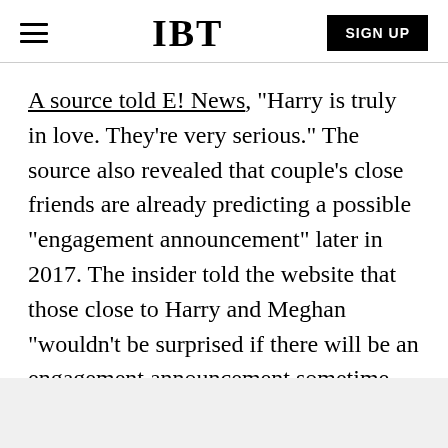IBT | SIGN UP
A source told E! News, "Harry is truly in love. They're very serious." The source also revealed that couple's close friends are already predicting a possible "engagement announcement" later in 2017. The insider told the website that those close to Harry and Meghan "wouldn't be surprised if there will be an engagement announcement sometime this year."